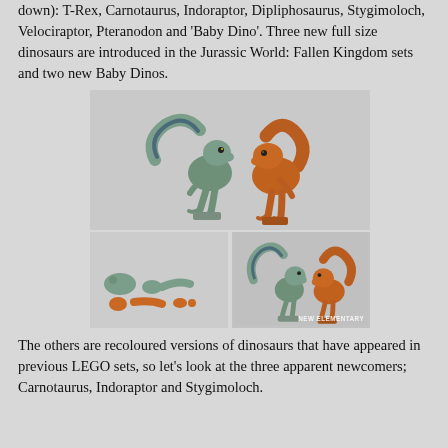down): T-Rex, Carnotaurus, Indoraptor, Dipliphosaurus, Stygimoloch, Velociraptor, Pteranodon and 'Baby Dino'. Three new full size dinosaurs are introduced in the Jurassic World: Fallen Kingdom sets and two new Baby Dinos.
[Figure (photo): Three photos of LEGO Baby Dino figures: top photo shows two assembled baby dinosaur figures (one teal/blue-grey velociraptor, one orange/brown T-Rex style), bottom-left photo shows the figures disassembled into parts, bottom-right photo shows the assembled figures from a different angle. Watermark reads 'NEW ELEMENTARY'.]
The others are recoloured versions of dinosaurs that have appeared in previous LEGO sets, so let's look at the three apparent newcomers; Carnotaurus, Indoraptor and Stygimoloch.